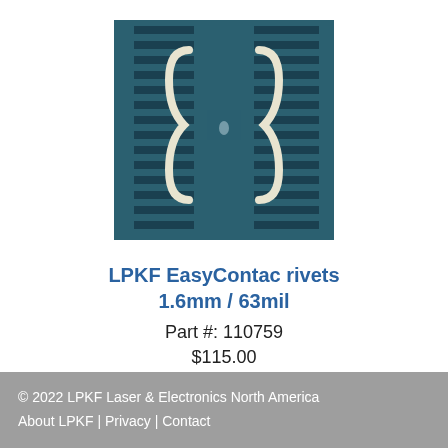[Figure (photo): Close-up photo of LPKF EasyContac rivets on a dark teal/green PCB background showing two curly brace shaped rivet contacts]
LPKF EasyContac rivets 1.6mm / 63mil
Part #: 110759
$115.00
more info
© 2022 LPKF Laser & Electronics North America
About LPKF | Privacy | Contact